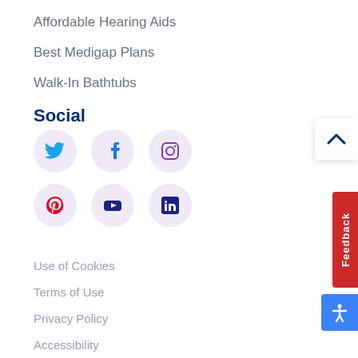Affordable Hearing Aids
Best Medigap Plans
Walk-In Bathtubs
Social
[Figure (infographic): Social media icons in circular purple-tinted buttons: Twitter, Facebook, Instagram, Pinterest, YouTube, LinkedIn]
Use of Cookies
Terms of Use
Privacy Policy
Accessibility
Do Not Sell My Personal Information